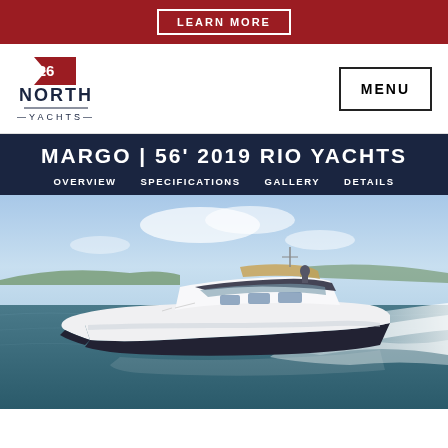LEARN MORE
[Figure (logo): 26 North Yachts logo — red flag with '26' and 'NORTH YACHTS' text below]
MENU
MARGO | 56' 2019 RIO YACHTS
OVERVIEW
SPECIFICATIONS
GALLERY
DETAILS
[Figure (photo): A white 56-foot 2019 Rio Yacht named Margo cruising at speed on open water with blue sky and distant shoreline in background, creating white wake spray on the right side.]